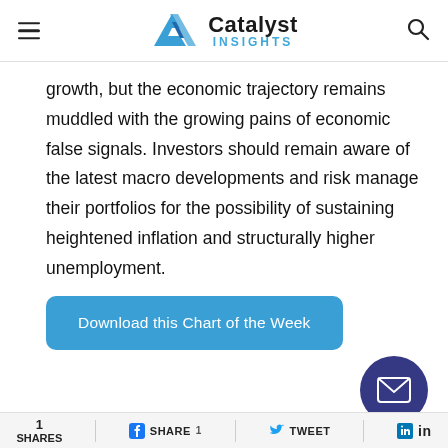Catalyst Insights
growth, but the economic trajectory remains muddled with the growing pains of economic false signals. Investors should remain aware of the latest macro developments and risk manage their portfolios for the possibility of sustaining heightened inflation and structurally higher unemployment.
Download this Chart of the Week
[Figure (other): Email envelope icon in a dark purple circular button]
SHARES | SHARE | TWEET | in